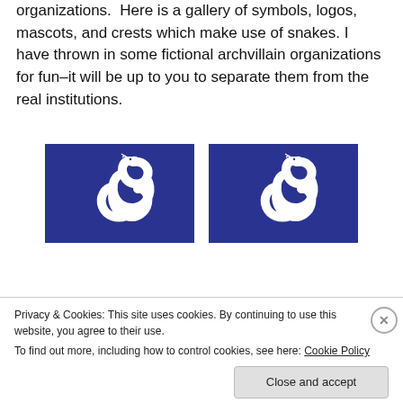organizations. Here is a gallery of symbols, logos, mascots, and crests which make use of snakes. I have thrown in some fictional archvillain organizations for fun–it will be up to you to separate them from the real institutions.
[Figure (illustration): Blue rectangular flag with white serpent/snake design, top-left of pair]
[Figure (illustration): Blue rectangular flag with white serpent/snake design, top-right of pair]
[Figure (illustration): Blue rectangular flag with white serpent/snake design, bottom-left of pair (partially visible)]
[Figure (illustration): Blue rectangular flag with white serpent/snake design, bottom-right of pair (partially visible)]
Privacy & Cookies: This site uses cookies. By continuing to use this website, you agree to their use. To find out more, including how to control cookies, see here: Cookie Policy